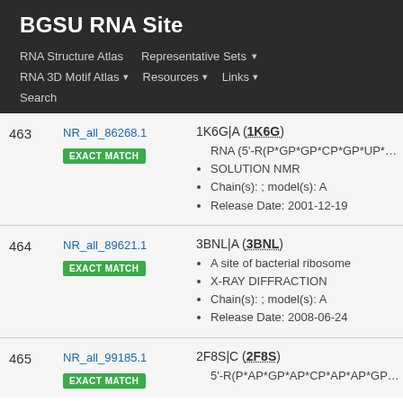BGSU RNA Site
RNA Structure Atlas  Representative Sets  RNA 3D Motif Atlas  Resources  Links  Search
| # | ID | Details |
| --- | --- | --- |
| 463 | NR_all_86268.1 EXACT MATCH | 1K6G|A (1K6G)
• RNA (5'-R(P*GP*GP*CP*GP*UP*CP*AP*UP*GP*
• SOLUTION NMR
• Chain(s): ; model(s): A
• Release Date: 2001-12-19 |
| 464 | NR_all_89621.1 EXACT MATCH | 3BNL|A (3BNL)
• A site of bacterial ribosome
• X-RAY DIFFRACTION
• Chain(s): ; model(s): A
• Release Date: 2008-06-24 |
| 465 | NR_all_99185.1 EXACT MATCH | 2F8S|C (2F8S)
• 5'-R(P*AP*GP*AP*CP*AP*AP*GP*CP*AP*U |